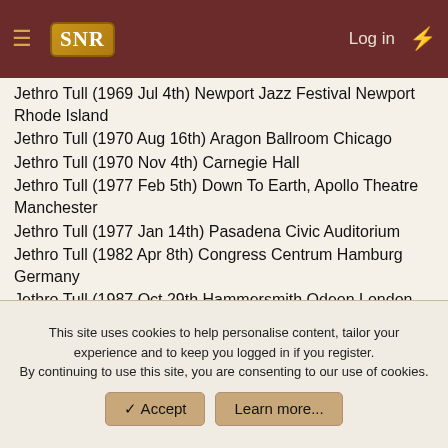SNR — Log in
Jethro Tull (1969 Jul 4th) Newport Jazz Festival Newport Rhode Island
Jethro Tull (1970 Aug 16th) Aragon Ballroom Chicago
Jethro Tull (1970 Nov 4th) Carnegie Hall
Jethro Tull (1977 Feb 5th) Down To Earth, Apollo Theatre Manchester
Jethro Tull (1977 Jan 14th) Pasadena Civic Auditorium
Jethro Tull (1982 Apr 8th) Congress Centrum Hamburg Germany
Jethro Tull (1987 Oct 29th Hammersmith Odeon London
Jethro Tull (1988 Aug 8th) Ginásio do Ibirapuera Sao Paulo Brazil
Jethro Tull (1999 Oct 9th) Mandalay Bay Hotel Las Vegas
Jethro Tull (2003 Jun 7th) Sweden Rock Festival Sölvesborg Sweden
This site uses cookies to help personalise content, tailor your experience and to keep you logged in if you register.
By continuing to use this site, you are consenting to our use of cookies.